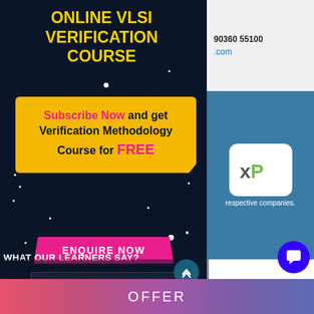ONLINE VLSI VERIFICATION COURSE
[Figure (infographic): Yellow banner: Subscribe Now and get Verification Methodology Course for FREE]
[Figure (other): ENQUIRE NOW button in magenta/pink]
*Limited Period Offer
90360 55100
.com
[Figure (logo): NXP logo in white rounded rectangle on teal background]
respective companies.
WHAT OUR LEARNERS SAY?
OFFER